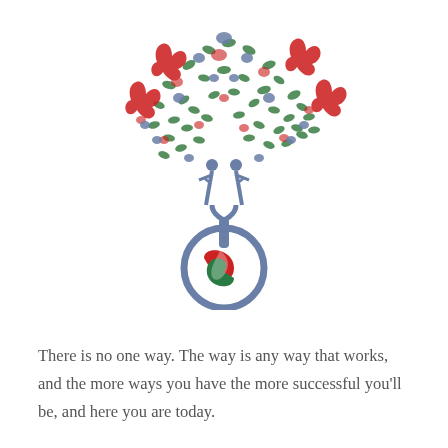[Figure (logo): A stylized tree logo composed of colorful handprints (red, blue, green) and leaf shapes forming the canopy, with human figures forming the trunk, and a circular globe at the base featuring red, white, and green swirling ribbons, all in a blue-grey circular outline.]
There is no one way.  The way is any way that works, and the more ways you have the more successful you'll be, and here you are today.